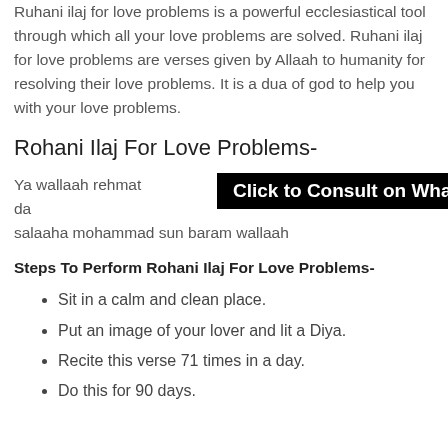Ruhani ilaj for love problems is a powerful ecclesiastical tool through which all your love problems are solved. Ruhani ilaj for love problems are verses given by Allaah to humanity for resolving their love problems. It is a dua of god to help you with your love problems.
Rohani Ilaj For Love Problems-
Ya wallaah rehmat da... salaaha mohammad sun baram wallaah
Click to Consult on Whatsapp
Steps To Perform Rohani Ilaj For Love Problems-
Sit in a calm and clean place.
Put an image of your lover and lit a Diya.
Recite this verse 71 times in a day.
Do this for 90 days.